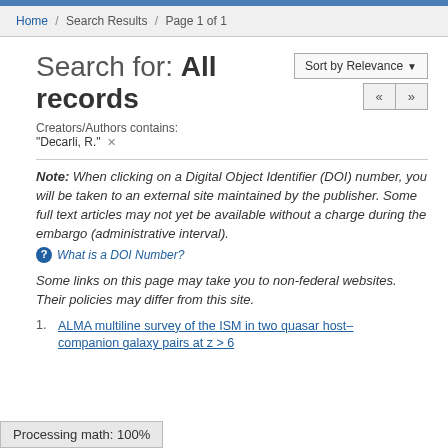Home / Search Results / Page 1 of 1
Search for: All records
Creators/Authors contains:
"Decarli, R." ×
Note: When clicking on a Digital Object Identifier (DOI) number, you will be taken to an external site maintained by the publisher. Some full text articles may not yet be available without a charge during the embargo (administrative interval).
❓ What is a DOI Number?
Some links on this page may take you to non-federal websites. Their policies may differ from this site.
1. ALMA multiline survey of the ISM in two quasar host–companion galaxy pairs at z > 6